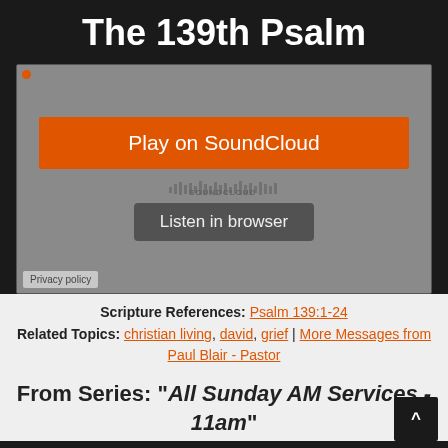The 139th Psalm
[Figure (screenshot): SoundCloud audio player embed showing an orange 'Play on SoundCloud' button and a gray 'Listen in browser' button on a gray background, with a small privacy policy label at the bottom left]
Scripture References: Psalm 139:1-24
Related Topics: christian living, david, grief | More Messages from Paul Blair - Pastor
From Series: "All Sunday AM Services - 11am"